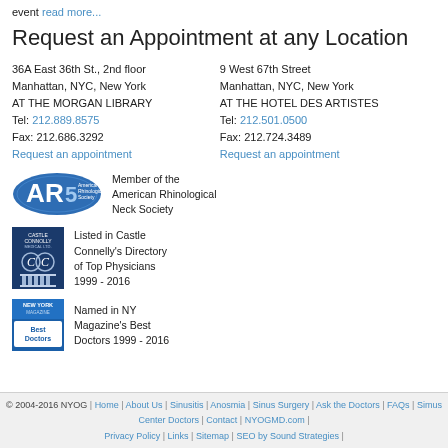event read more...
Request an Appointment at any Location
36A East 36th St., 2nd floor
Manhattan, NYC, New York
AT THE MORGAN LIBRARY
Tel: 212.889.8575
Fax: 212.686.3292
Request an appointment
9 West 67th Street
Manhattan, NYC, New York
AT THE HOTEL DES ARTISTES
Tel: 212.501.0500
Fax: 212.724.3489
Request an appointment
[Figure (logo): American Rhinological Society logo - blue oval with ARS text]
Member of the American Rhinological Neck Society
[Figure (logo): Castle Connolly Medical logo - dark blue with OC emblem and pillars]
Listed in Castle Connelly's Directory of Top Physicians 1999 - 2016
[Figure (logo): NY Magazine Best Doctors logo - blue and white]
Named in NY Magazine's Best Doctors 1999 - 2016
© 2004-2016 NYOG | Home | About Us | Sinusitis | Anosmia | Sinus Surgery | Ask the Doctors | FAQs | Simus Center Doctors | Contact | NYOGMD.com | Privacy Policy | Links | Sitemap | SEO by Sound Strategies |